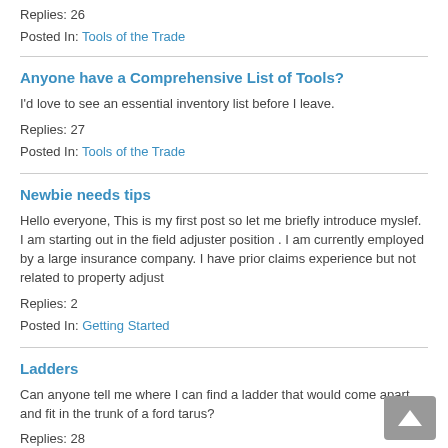Replies: 26
Posted In: Tools of the Trade
Anyone have a Comprehensive List of Tools?
I'd love to see an essential inventory list before I leave.
Replies: 27
Posted In: Tools of the Trade
Newbie needs tips
Hello everyone, This is my first post so let me briefly introduce myslef. I am starting out in the field adjuster position . I am currently employed by a large insurance company. I have prior claims experience but not related to property adjust
Replies: 2
Posted In: Getting Started
Ladders
Can anyone tell me where I can find a ladder that would come apart and fit in the trunk of a ford tarus?
Replies: 28